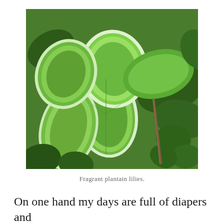[Figure (photo): Close-up photograph of fragrant plantain lilies (Hosta) with large green leaves edged in white/cream, growing densely with some ivy leaves and a woody stem visible]
Fragrant plantain lilies.
On one hand my days are full of diapers and